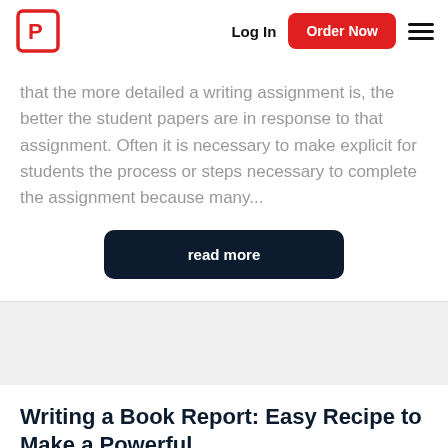Log In | Order Now
that the more detailed a writing assignment is, the better the student papers are in response to that assignment. Often it is necessary to make explicit for students the process or steps necessary to complete the assignment because many...
read more
Writing a Book Report: Easy Recipe to Make a Powerful...
Author: Stacy Nickson